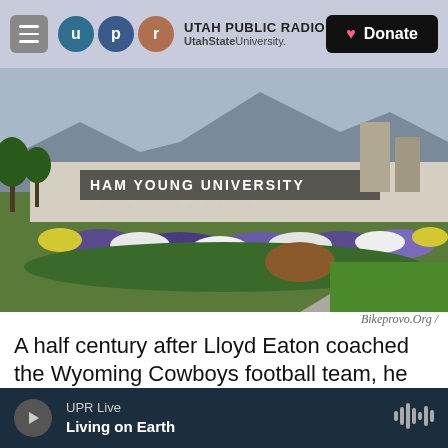UTAH PUBLIC RADIO | UtahState University. | Donate
[Figure (photo): Brigham Young University entrance sign with flower garden in foreground, mountains and buildings in background]
Bikeprovo.Org /
A half century after Lloyd Eaton coached the Wyoming Cowboys football team, he isn't remembered for his gridiron prowess or ability to
UPR Live | Living on Earth